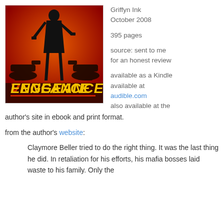[Figure (illustration): Book cover for 'Vengeance' showing a silhouette of a person with guns on an orange/red background with the title VENGEANCE in yellow and orange stylized text]
Griffyn Ink
October 2008

395 pages

source: sent to me for an honest review

available as a Kindle available at audible.com also available at the author's site in ebook and print format.
from the author's website:
Claymore Beller tried to do the right thing. It was the last thing he did. In retaliation for his efforts, his mafia bosses laid waste to his family. Only the